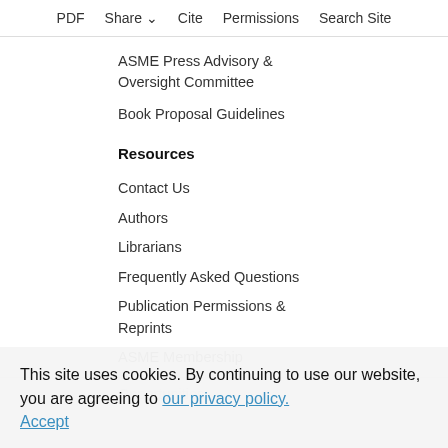PDF   Share   Cite   Permissions   Search Site
ASME Press Advisory & Oversight Committee
Book Proposal Guidelines
Resources
Contact Us
Authors
Librarians
Frequently Asked Questions
Publication Permissions & Reprints
ASME Membership
Opportunities
This site uses cookies. By continuing to use our website, you are agreeing to our privacy policy. Accept